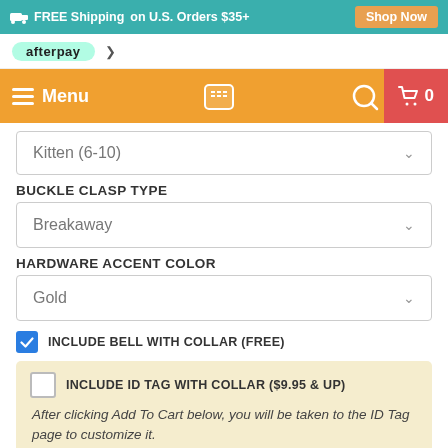FREE Shipping on U.S. Orders $35+  Shop Now
afterpay
Menu  0
Kitten (6-10)
BUCKLE CLASP TYPE
Breakaway
HARDWARE ACCENT COLOR
Gold
INCLUDE BELL WITH COLLAR (FREE)
INCLUDE ID TAG WITH COLLAR ($9.95 & UP)
After clicking Add To Cart below, you will be taken to the ID Tag page to customize it.